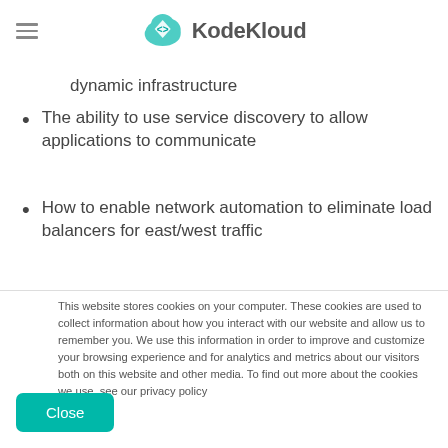KodeKloud
dynamic infrastructure
The ability to use service discovery to allow applications to communicate
How to enable network automation to eliminate load balancers for east/west traffic
This website stores cookies on your computer. These cookies are used to collect information about how you interact with our website and allow us to remember you. We use this information in order to improve and customize your browsing experience and for analytics and metrics about our visitors both on this website and other media. To find out more about the cookies we use, see our privacy policy
Close